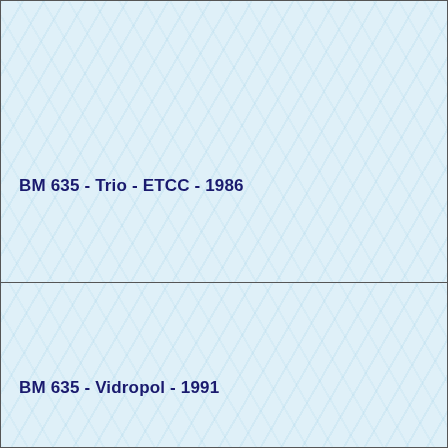BM 635 - Trio - ETCC - 1986
BM 635 - Vidropol - 1991